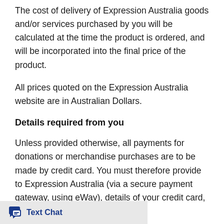The cost of delivery of Expression Australia goods and/or services purchased by you will be calculated at the time the product is ordered, and will be incorporated into the final price of the product.
All prices quoted on the Expression Australia website are in Australian Dollars.
Details required from you
Unless provided otherwise, all payments for donations or merchandise purchases are to be made by credit card. You must therefore provide to Expression Australia (via a secure payment gateway, using eWay), details of your credit card, including: